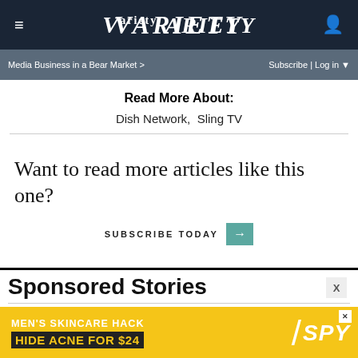VARIETY — Media Business in a Bear Market > | Subscribe | Log in
Read More About:
Dish Network,  Sling TV
Want to read more articles like this one?
SUBSCRIBE TODAY →
Sponsored Stories
[Figure (other): Advertisement banner: MEN'S SKINCARE HACK HIDE ACNE FOR $24 — SPY logo with yellow background and slash graphic]